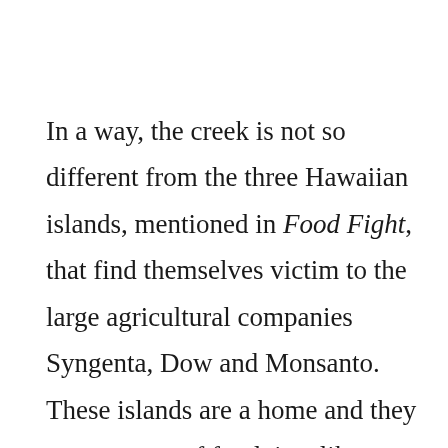In a way, the creek is not so different from the three Hawaiian islands, mentioned in Food Fight, that find themselves victim to the large agricultural companies Syngenta, Dow and Monsanto. These islands are a home and they are a source of food, just like White Clay Creek. They are a source of life, plant, animal and human, just like the creek. Yet, just like White Clay Creek, they find themselves permanently altered by human impact. White Clay Creek,  can flow freely, but will never flow quite the same as it did before a dam was built across it's body. Even